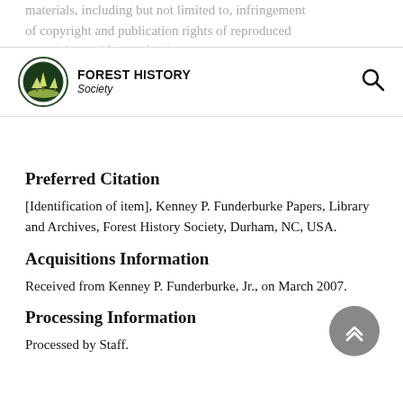materials, including but not limited to, infringement of copyright and publication rights of reproduced materials used for academic research or otherwise should be fully credited with the source.
[Figure (logo): Forest History Society logo: circular emblem with trees and the text FOREST HISTORY Society]
Preferred Citation
[Identification of item], Kenney P. Funderburke Papers, Library and Archives, Forest History Society, Durham, NC, USA.
Acquisitions Information
Received from Kenney P. Funderburke, Jr., on March 2007.
Processing Information
Processed by Staff.